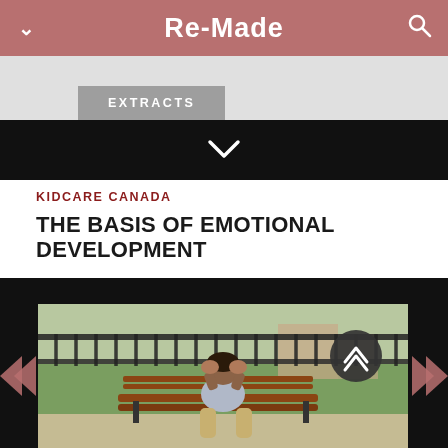Re-Made
EXTRACTS
KIDCARE CANADA
THE BASIS OF EMOTIONAL DEVELOPMENT
[Figure (photo): A young person sitting on a wooden park bench with their head in their hands, appearing distressed or upset. An iron railing and green outdoor scenery visible in the background. Navigation arrows on left and right side, a dark scroll-up button on the right.]